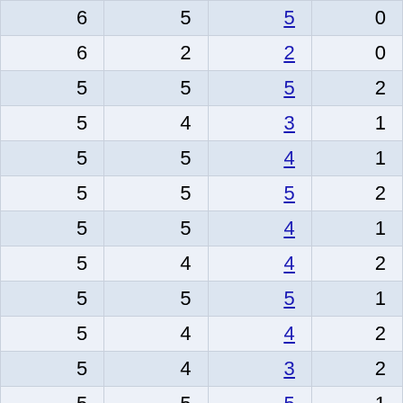| 6 | 5 | 5 | 0 |
| 6 | 2 | 2 | 0 |
| 5 | 5 | 5 | 2 |
| 5 | 4 | 3 | 1 |
| 5 | 5 | 4 | 1 |
| 5 | 5 | 5 | 2 |
| 5 | 5 | 4 | 1 |
| 5 | 4 | 4 | 2 |
| 5 | 5 | 5 | 1 |
| 5 | 4 | 4 | 2 |
| 5 | 4 | 3 | 2 |
| 5 | 5 | 5 | 1 |
| 5 | 3 | 3 | 2 |
| 5 | 5 | 3 | 0 |
| 5 | 5 | 3 | 1 |
| 5 | 5 | 4 | 1 |